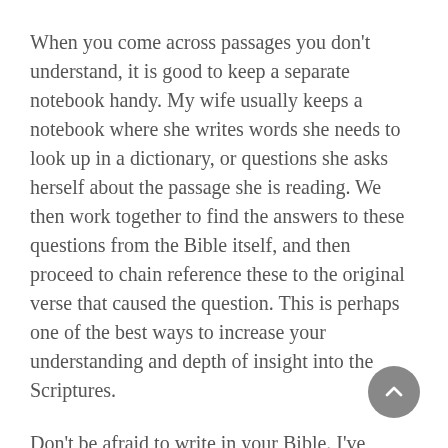When you come across passages you don't understand, it is good to keep a separate notebook handy. My wife usually keeps a notebook where she writes words she needs to look up in a dictionary, or questions she asks herself about the passage she is reading. We then work together to find the answers to these questions from the Bible itself, and then proceed to chain reference these to the original verse that caused the question. This is perhaps one of the best ways to increase your understanding and depth of insight into the Scriptures.
Don't be afraid to write in your Bible. I've written many things that I later changed, using white out or some other form of erasing ink. I change what I've written if I realized I had the wrong thought about a particular verse, or I want to add a more enlightening